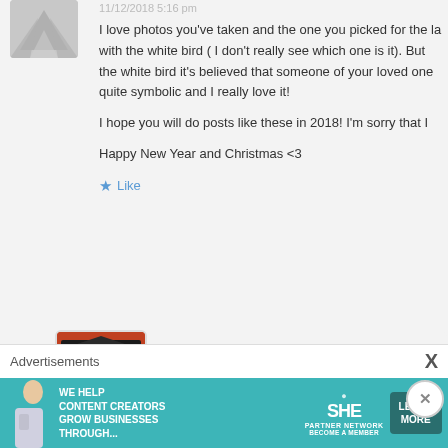[Figure (photo): Partial avatar image at top left, gray/white abstract design]
I love photos you've taken and the one you picked for the l… with the white bird ( I don't really see which one is it). But the white bird it's believed that someone of your loved one… quite symbolic and I really love it!

I hope you will do posts like these in 2018! I'm sorry that I…

Happy New Year and Christmas <3
Like
[Figure (photo): Avatar photo of a red Japanese temple gate building]
Eliz@MirthandMotivation
PERMALINK
11/02/2018 9:30 pm
Thank you Ana! Never too late
Like
Advertisements
[Figure (infographic): SHE Media partner network advertisement banner: 'We help content creators grow businesses through...' with Learn More button]